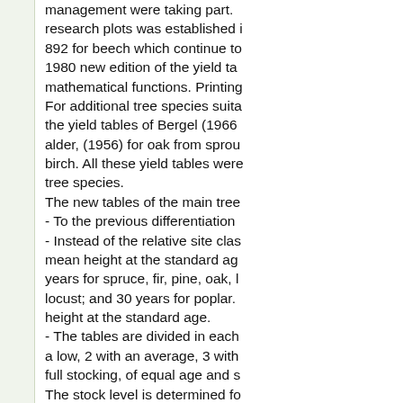management were taking part. research plots was established i 892 for beech which continue to 1980 new edition of the yield ta mathematical functions. Printing For additional tree species suita the yield tables of Bergel (1966 alder, (1956) for oak from sprou birch. All these yield tables were tree species. The new tables of the main tree - To the previous differentiation - Instead of the relative site clas mean height at the standard ag years for spruce, fir, pine, oak, l locust; and 30 years for poplar. height at the standard age. - The tables are divided in each a low, 2 with an average, 3 with full stocking, of equal age and s The stock level is determined fo economic associations. For the degrees of the stock level of the experimental material of the re In the yield tables of the main t